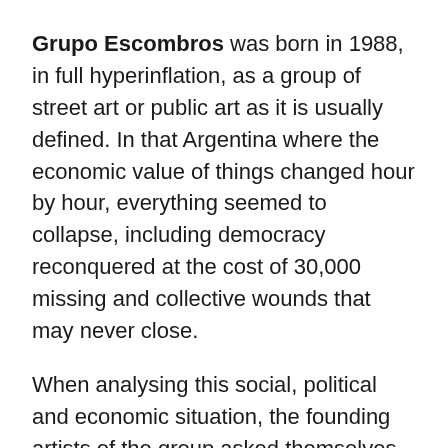Grupo Escombros was born in 1988, in full hyperinflation, as a group of street art or public art as it is usually defined. In that Argentina where the economic value of things changed hour by hour, everything seemed to collapse, including democracy reconquered at the cost of 30,000 missing and collective wounds that may never close.
When analysing this social, political and economic situation, the founding artists of the group asked themselves what would be left of the country. The answer was: “the rubble.” That day the group acquired its name. A name that today is more current than ever, because Argentina continues to collapse, relentlessly. Next to the name, and beyond the inevitable changes, there are characteristics that remained intact: